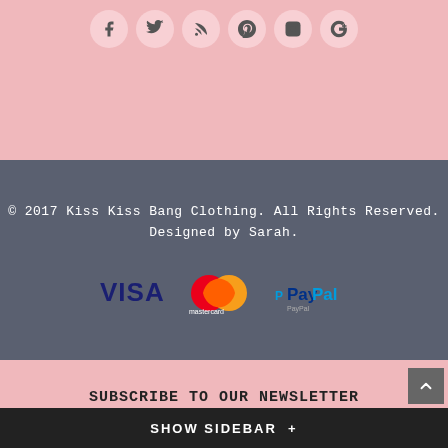[Figure (illustration): Social media icons in circular pink buttons: Facebook, Twitter, RSS, Pinterest, Instagram, Google+]
© 2017 Kiss Kiss Bang Clothing. All Rights Reserved. Designed by Sarah.
[Figure (logo): Payment logos: Visa, Mastercard, PayPal]
SUBSCRIBE TO OUR NEWSLETTER
* indicates required
Email Address *
First Name
SHOW SIDEBAR +